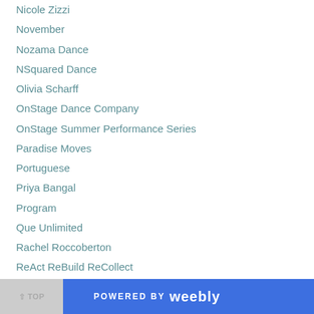Nicole Zizzi
November
Nozama Dance
NSquared Dance
Olivia Scharff
OnStage Dance Company
OnStage Summer Performance Series
Paradise Moves
Portuguese
Priya Bangal
Program
Que Unlimited
Rachel Roccoberton
ReAct ReBuild ReCollect
Repost
Ricochet
Roger Williams University
^ TOP   POWERED BY weebly